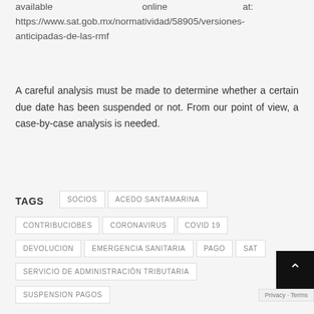available online at: https://www.sat.gob.mx/normatividad/58905/versiones-anticipadas-de-las-rmf
A careful analysis must be made to determine whether a certain due date has been suspended or not. From our point of view, a case-by-case analysis is needed.
TAGS  SOCIOS  ACEDO SANTAMARINA  CONTRIBUCIOBES  CORONAVIRUS  COVID 19  DEVOLUCION  EMERGENCIA SANITARIA  PAGO  SAT  SERVICIO DE ADMINISTRACIÓN TRIBUTARIA  SUSPENSION PAGOS